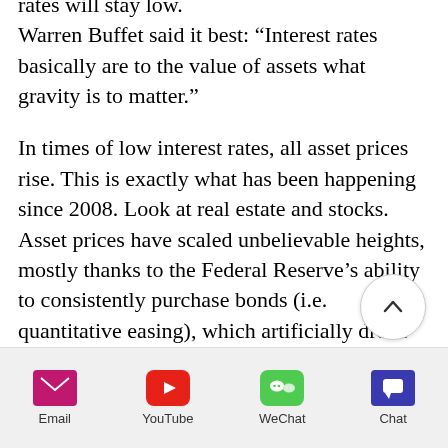rates will stay low. Warren Buffet said it best: “Interest rates basically are to the value of assets what gravity is to matter.”
In times of low interest rates, all asset prices rise. This is exactly what has been happening since 2008. Look at real estate and stocks. Asset prices have scaled unbelievable heights, mostly thanks to the Federal Reserve’s ability to consistently purchase bonds (i.e. quantitative easing), which artificially drove down interest
[Figure (other): Scroll-up / back-to-top circular button with upward chevron arrow]
[Figure (infographic): Mobile share/action bottom bar with Email, YouTube, WeChat, and Chat options]